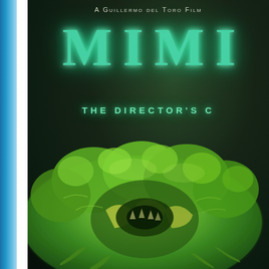[Figure (photo): Movie poster for 'Mimic: The Director's Cut', a Guillermo del Toro film. Dark green/teal background with glowing green title text 'MIMIC' in large spaced letters. Subtitle reads 'THE DIRECTOR'S C[UT]' (partially visible). A large monstrous creature resembling an insectoid head/claw fills the lower portion of the poster, rendered in green and yellow-green tones. Left side of page has a blue bar and white gap border.]